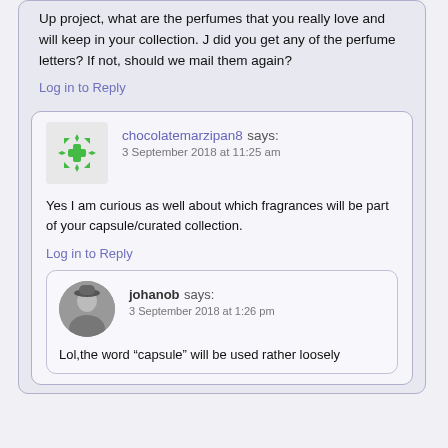Up project, what are the perfumes that you really love and will keep in your collection. J did you get any of the perfume letters? If not, should we mail them again?
Log in to Reply
chocolatemarzipan8 says: 3 September 2018 at 11:25 am
Yes I am curious as well about which fragrances will be part of your capsule/curated collection.
Log in to Reply
johanob says: 3 September 2018 at 1:26 pm
Lol,the word “capsule” will be used rather loosely